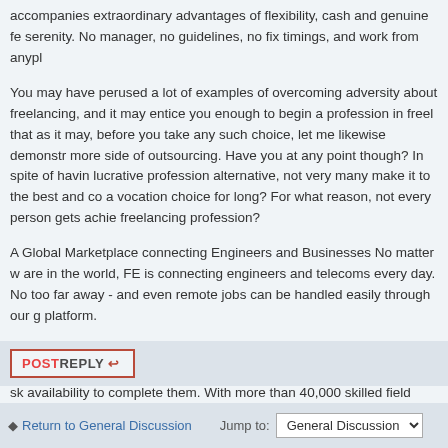accompanies extraordinary advantages of flexibility, cash and genuine fe serenity. No manager, no guidelines, no fix timings, and work from anypl
You may have perused a lot of examples of overcoming adversity about freelancing, and it may entice you enough to begin a profession in freel that as it may, before you take any such choice, let me likewise demonstr more side of outsourcing. Have you at any point though? In spite of havin lucrative profession alternative, not very many make it to the best and co a vocation choice for long? For what reason, not every person gets achie freelancing profession?
A Global Marketplace connecting Engineers and Businesses No matter w are in the world, FE is connecting engineers and telecoms every day. No too far away - and even remote jobs can be handled easily through our g platform.
Field Engineer is an online marketplace that connects companies with telecommunications work with the global field engineers who have the sk availability to complete them. With more than 40,000 skilled field enginee countries, Field Engineer has already helped 45 service providers get job
POSTREPLY ↩
Return to General Discussion
Jump to:  General Discussion